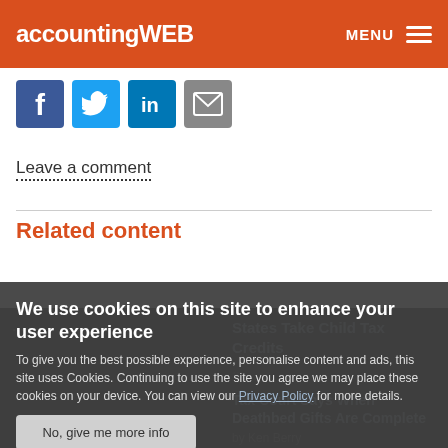accountingWEB | MENU
[Figure (screenshot): Social share icons row: Facebook (blue), Twitter (blue bird), LinkedIn (blue), Email (grey envelope)]
Leave a comment
Related content
We use cookies on this site to enhance your user experience
To give you the best possible experience, personalise content and ads, this site uses Cookies. Continuing to use the site you agree we may place these cookies on your device. You can view our Privacy Policy for more details.
No, give me more info
OK, I agree
States Take Child Tax Credits
Tax Court Says When Deathbed Gifts Are Complete
by Ken Berry